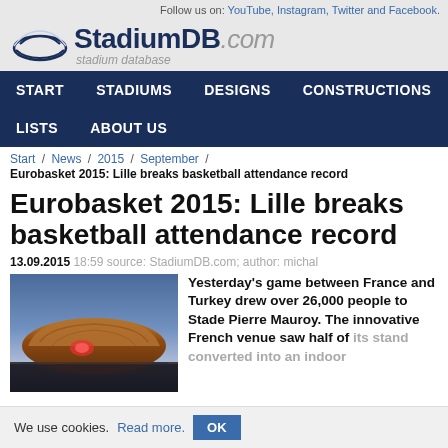Follow us on: YouTube, Instagram, Twitter and Facebook.
[Figure (logo): StadiumDB.com logo with stadium icon]
START  STADIUMS  DESIGNS  CONSTRUCTIONS  LISTS  ABOUT US
Start / News / 2015 / September /
Eurobasket 2015: Lille breaks basketball attendance record
Eurobasket 2015: Lille breaks basketball attendance record
13.09.2015  18:59 source: StadiumDB.com; author: michal
[Figure (photo): Photo of Stade Pierre Mauroy arena exterior at dusk with orange/red lighting]
Yesterday's game between France and Turkey drew over 26,000 people to Stade Pierre Mauroy. The innovative French venue saw half of its stand converted into an indoor
We use cookies. Read more.  OK